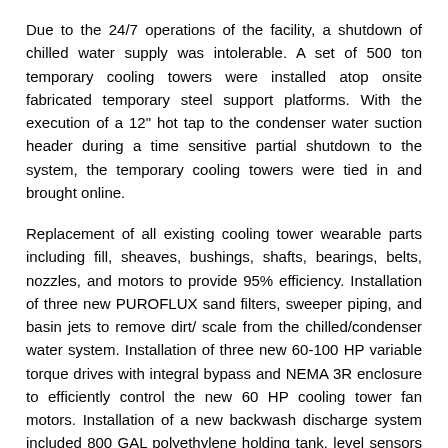Due to the 24/7 operations of the facility, a shutdown of chilled water supply was intolerable. A set of 500 ton temporary cooling towers were installed atop onsite fabricated temporary steel support platforms. With the execution of a 12" hot tap to the condenser water suction header during a time sensitive partial shutdown to the system, the temporary cooling towers were tied in and brought online.
Replacement of all existing cooling tower wearable parts including fill, sheaves, bushings, shafts, bearings, belts, nozzles, and motors to provide 95% efficiency. Installation of three new PUROFLUX sand filters, sweeper piping, and basin jets to remove dirt/ scale from the chilled/condenser water system. Installation of three new 60-100 HP variable torque drives with integral bypass and NEMA 3R enclosure to efficiently control the new 60 HP cooling tower fan motors. Installation of a new backwash discharge system included 800 GAL polyethylene holding tank, level sensors with high level alarm, 45 GPM sump pump, and SCH 80 PVC piping to discharge tower effluent to interior sanitary.
Upon project completion and equipment functional testing of the